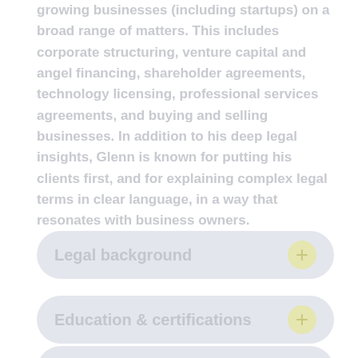growing businesses (including startups) on a broad range of matters. This includes corporate structuring, venture capital and angel financing, shareholder agreements, technology licensing, professional services agreements, and buying and selling businesses. In addition to his deep legal insights, Glenn is known for putting his clients first, and for explaining complex legal terms in clear language, in a way that resonates with business owners.
Legal background
Education & certifications